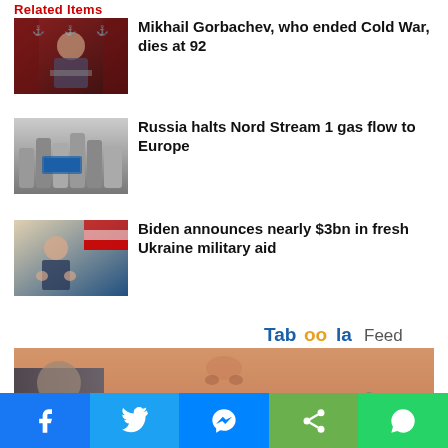Related Items
Mikhail Gorbachev, who ended Cold War, dies at 92
Russia halts Nord Stream 1 gas flow to Europe
Biden announces nearly $3bn in fresh Ukraine military aid
[Figure (logo): Taboola Feed logo]
[Figure (photo): Close-up photo of a woman's face (nose and lips visible) with a man partially in frame on the left]
[Figure (other): Social share bar with Facebook, Twitter, Messenger, Share, and WhatsApp buttons]